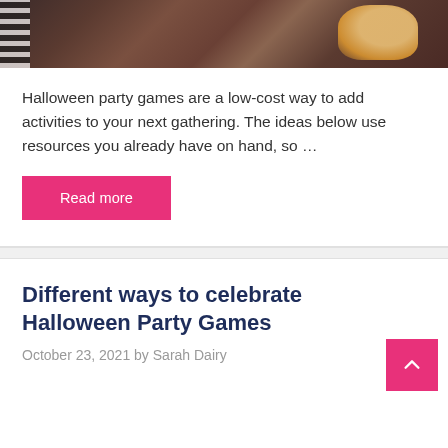[Figure (photo): Partial view of a Halloween party table setup with striped element on the left and polka-dot cups with fortune cookie-like treats on the right, dark wood background]
Halloween party games are a low-cost way to add activities to your next gathering. The ideas below use resources you already have on hand, so …
Read more
Different ways to celebrate Halloween Party Games
October 23, 2021 by Sarah Dairy